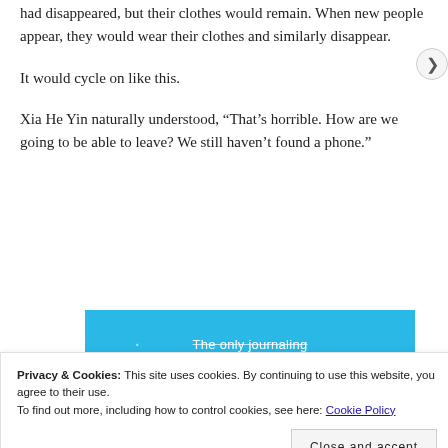had disappeared, but their clothes would remain. When new people appear, they would wear their clothes and similarly disappear.
It would cycle on like this.
Xia He Yin naturally understood, “That’s horrible. How are we going to be able to leave? We still haven’t found a phone.”
[Figure (screenshot): Blue advertisement banner partially visible showing text 'The only journaling app you'll ever need.']
Privacy & Cookies: This site uses cookies. By continuing to use this website, you agree to their use.
To find out more, including how to control cookies, see here: Cookie Policy
Close and accept